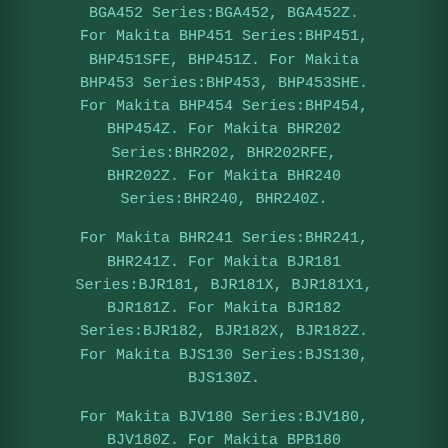BGA452 Series:BGA452, BGA452Z. For Makita BHP451 Series:BHP451, BHP451SFE, BHP451Z. For Makita BHP453 Series:BHP453, BHP453SHE. For Makita BHP454 Series:BHP454, BHP454Z. For Makita BHR202 Series:BHR202, BHR202RFE, BHR202Z. For Makita BHR240 Series:BHR240, BHR240Z.
For Makita BHR241 Series:BHR241, BHR241Z. For Makita BJR181 Series:BJR181, BJR181X, BJR181X1, BJR181Z. For Makita BJR182 Series:BJR182, BJR182X, BJR182Z. For Makita BJS130 Series:BJS130, BJS130Z.
For Makita BJV180 Series:BJV180, BJV180Z. For Makita BPB180 Series:BPB180, BPB180Z. For Makita BSS501 Series:BSS501, BSS501Z. For Makita BSS610